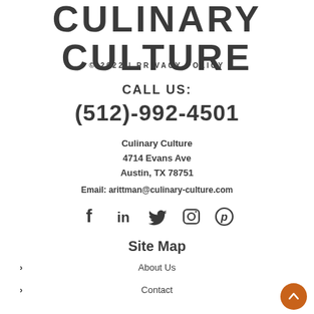CULINARY CULTURE
© 2022 | PRIVACY POLICY
CALL US:
(512)-992-4501
Culinary Culture
4714 Evans Ave
Austin, TX 78751
Email: arittman@culinary-culture.com
[Figure (infographic): Social media icons: Facebook, LinkedIn, Twitter, Instagram, Pinterest]
Site Map
About Us
Contact